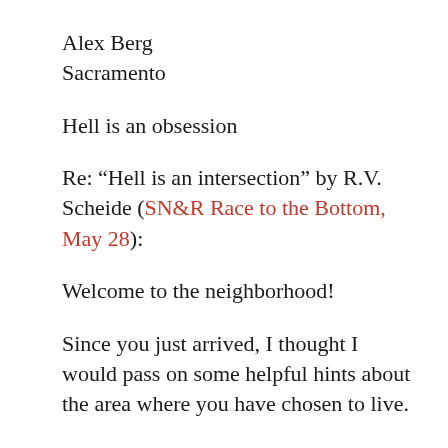Alex Berg
Sacramento
Hell is an obsession
Re: “Hell is an intersection” by R.V. Scheide (SN&R Race to the Bottom, May 28):
Welcome to the neighborhood!
Since you just arrived, I thought I would pass on some helpful hints about the area where you have chosen to live.
First of all, I an...